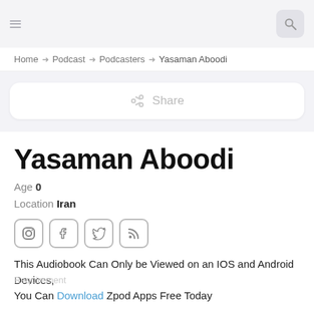Home > Podcast > Podcasters > Yasaman Aboodi
Share
Yasaman Aboodi
Age 0
Location Iran
[Figure (other): Social media icons: Instagram, Facebook, Twitter, RSS]
This Audiobook Can Only be Viewed on an IOS and Android Devices,
You Can Download Zpod Apps Free Today